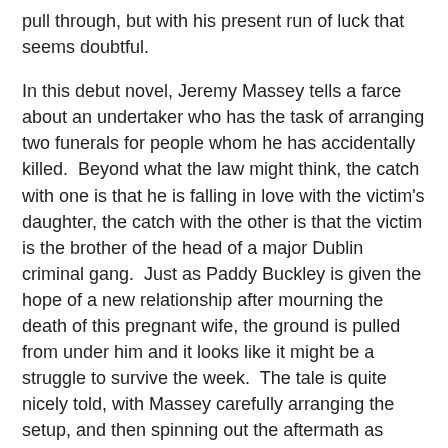pull through, but with his present run of luck that seems doubtful.
In this debut novel, Jeremy Massey tells a farce about an undertaker who has the task of arranging two funerals for people whom he has accidentally killed.  Beyond what the law might think, the catch with one is that he is falling in love with the victim's daughter, the catch with the other is that the victim is the brother of the head of a major Dublin criminal gang.  Just as Paddy Buckley is given the hope of a new relationship after mourning the death of this pregnant wife, the ground is pulled from under him and it looks like it might be a struggle to survive the week.  The tale is quite nicely told, with Massey carefully arranging the setup, and then spinning out the aftermath as Buckley tries to manage the fallout.  However, while it's entertaining enough, the plotting felt a little over-contrived, the telling felt a little flat, lacking both tension and humour, and I didn't really connect with the Buckley as a character.  That's not to say that I didn't like the book, just that I wasn't bowled over by it.  Overall, a story with a really great hook that didn't quite live up to its promise, but nonetheless was an interesting read.